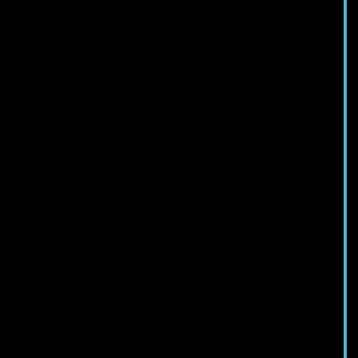keep a small lamp on 2 metres away from you. Try to wear all black or dark colours and keep something you feel happy next to you. Then place 4 candles round the edge of a circle apart from eachother. Place one candle in the middle and have a... Light the candles and make a chant something like: "spirits bad, vest your power in the ground, spirits good, follow our chant to us, we seek your help, though we cannot repay" All hold hands while saying this 3 times. Then close your eyes and focus on the question. When you open your eyes, write YES on each... the paper on the middle candle and blow o... use the water to draw a heart on your foreh... IMMEDIATELY after you have drawn the h... The paper will be burned on one end and m... If you can mostly see the YES that means,... If you see NO then they will answer when e... To cleanse yourself, take the ashes of the p... Now you must light the outside candles and... Then write four different answers to that qu... candle. LIght the middle candle again and wait for... candle and whichever one goes out first, th... You can also write the alphabet round the e... and see which letters are left. You can find directions by watching the wa... If a candle falls over or something bad ha...